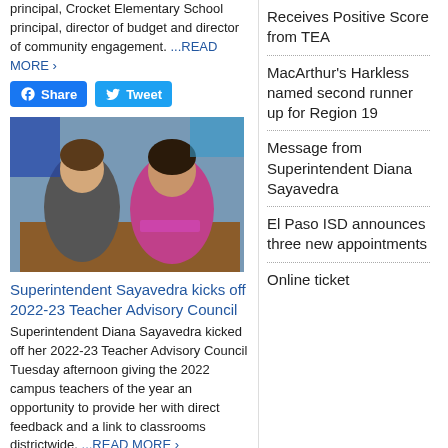principal, Crocket Elementary School principal, director of budget and director of community engagement. ...READ MORE ›
[Figure (other): Two women sitting at a table, one laughing, one smiling, in a meeting room setting.]
Superintendent Sayavedra kicks off 2022-23 Teacher Advisory Council
Superintendent Diana Sayavedra kicked off her 2022-23 Teacher Advisory Council Tuesday afternoon giving the 2022 campus teachers of the year an opportunity to provide her with direct feedback and a link to classrooms districtwide. ...READ MORE ›
Receives Positive Score from TEA
MacArthur's Harkless named second runner up for Region 19
Message from Superintendent Diana Sayavedra
El Paso ISD announces three new appointments
Online ticket